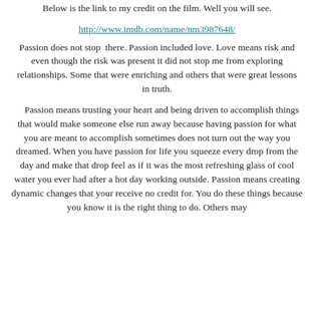Below is the link to my credit on the film. Well you will see.
http://www.imdb.com/name/nm3987648/
Passion does not stop  there. Passion included love. Love means risk and even though the risk was present it did not stop me from exploring relationships. Some that were enriching and others that were great lessons in truth.
Passion means trusting your heart and being driven to accomplish things that would make someone else run away because having passion for what you are meant to accomplish sometimes does not turn out the way you dreamed. When you have passion for life you squeeze every drop from the day and make that drop feel as if it was the most refreshing glass of cool water you ever had after a hot day working outside. Passion means creating dynamic changes that your receive no credit for. You do these things because you know it is the right thing to do. Others may